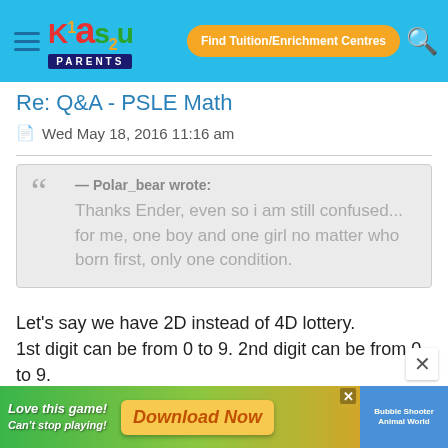Kiasu Parents — Find Tuition/Enrichment Centres
Re: Q&A - PSLE Math
Wed May 18, 2016 11:16 am
— Polar_bear wrote: Thanks Ender, even so i am still confused... for me, one boy and one girl no matter who born first, only one condition.
Let's say we have 2D instead of 4D lottery. 1st digit can be from 0 to 9. 2nd digit can be from 0 to 9. Are total combinations 100 or 50, if you don't count reverse numbers?
[Figure (screenshot): Advertisement banner: 'Love this game! Can't stop playing! Download Now' with Bubble Shooter Animal World game graphic]